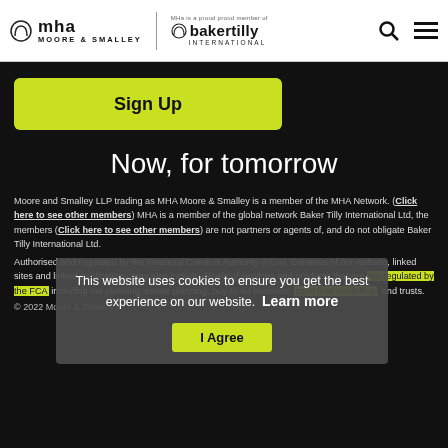mha MOORE & SMALLEY | bakertilly INTERNATIONAL
Sign Up
Now, for tomorrow
Moore and Smalley LLP trading as MHA Moore & Smalley is a member of the MHA Network. (Click here to see other members) MHA is a member of the global network Baker Tilly International Ltd, the members (Click here to see other members) are not partners or agents of, and do not obligate Baker Tilly International Ltd.
Authorised and regulated by the Financial Conduct Authority (FCA). Contents of our website, linked sites and linked publications may also include details of services and products that are not regulated by the FCA including tax planning, estate planning, buy-to-let business, cash flow modelling, and trusts.
This website uses cookies to ensure you get the best experience on our website.  Learn more
I Agree
© 2022 Moore & Smalley